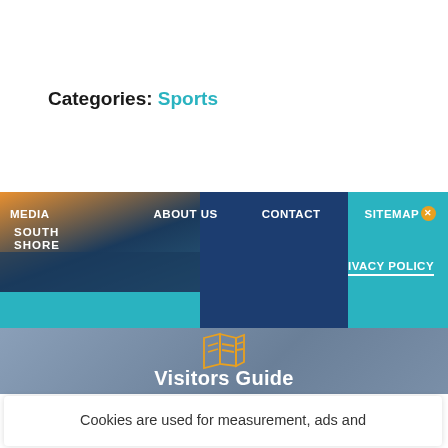Categories: Sports
[Figure (screenshot): Website navigation bar with teal background showing MEDIA, ABOUT US, CONTACT, SITEMAP links and South Shore logo, with PRIVACY POLICY link below]
[Figure (illustration): Visitors Guide section with map/book icon on blue-grey background]
Cookies are used for measurement, ads and